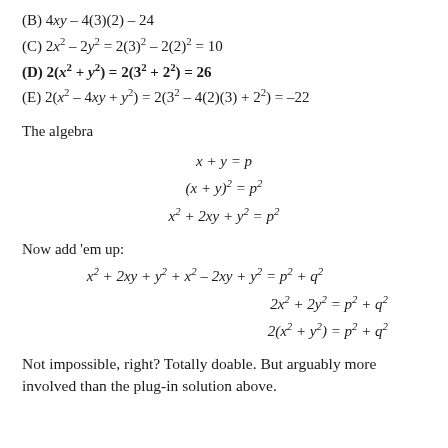(B) 4xy – 4(3)(2) – 24
(C) 2x² – 2y² = 2(3)² – 2(2)² = 10
(D) 2(x² + y²) = 2(3² + 2²) = 26
(E) 2(x² – 4xy + y²) = 2(3² – 4(2)(3) + 2²) = –22
The algebra
Now add 'em up:
Not impossible, right? Totally doable. But arguably more involved than the plug-in solution above.